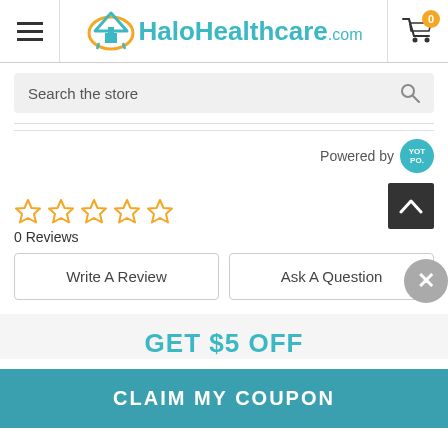HaloHealthcare.com
Search the store
Powered by YOT PO
[Figure (other): Five empty gold star rating icons]
0 Reviews
Write A Review
Ask A Question
GET $5 OFF
CLAIM MY COUPON